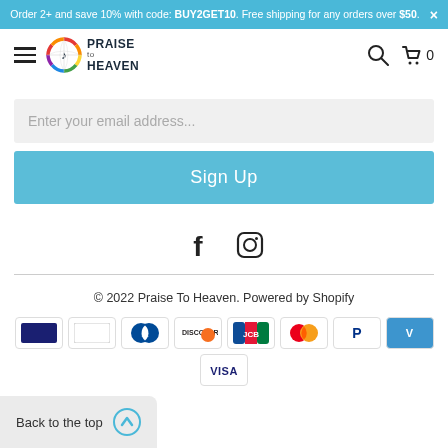Order 2+ and save 10% with code: BUY2GET10. Free shipping for any orders over $50.
[Figure (logo): Praise To Heaven logo with colorful globe icon and bold text]
Enter your email address...
Sign Up
[Figure (illustration): Facebook and Instagram social media icons]
© 2022 Praise To Heaven. Powered by Shopify
[Figure (other): Payment icons: Diners Club, Discover, JCB, Mastercard, PayPal, Venmo, Visa]
Back to the top